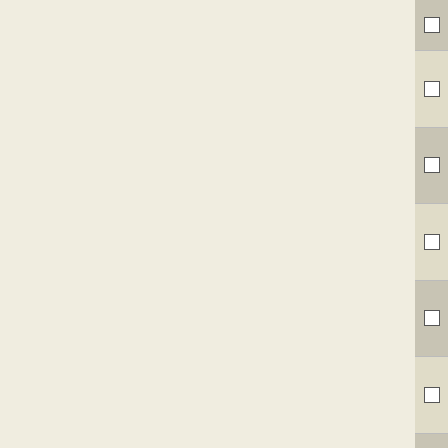|  | Accession | Gene | Description |
| --- | --- | --- | --- |
| ☐ | NC_008639 | Cpha266_2054 | Cas1 fam protein |
| ☐ | NC_011729 | PCC7424_1718 | CRISPR-associated protein Cas1 |
| ☐ | NC_013411 | GYMC61_1188 | CRISPR-associated protein Cas1 |
| ☐ | NC_007796 | Mhun_1858 | CRISPR-associated Cas1 fam protein |
| ☐ | NC_010803 | Clim_0929 | CRISPR-associated protein Cas1 |
| ☐ | NC_010320 | Teth514_2317 | CRISPR-associated Cas1 fam protein |
| ☐ | NC_011738 | PCC7424_5841 | CRISPR-associated protein Cas1 |
| ☐ | NC_013526 | Tter_2430 | CRISPR-associated protein Cas1 |